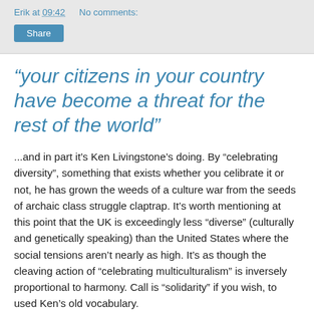Erik at 09:42   No comments:
“your citizens in your country have become a threat for the rest of the world”
...and in part it’s Ken Livingstone’s doing. By “celebrating diversity”, something that exists whether you celibrate it or not, he has grown the weeds of a culture war from the seeds of archaic class struggle claptrap. It’s worth mentioning at this point that the UK is exceedingly less “diverse” (culturally and genetically speaking) than the United States where the social tensions aren’t nearly as high. It’s as though the cleaving action of “celebrating multiculturalism” is inversely proportional to harmony. Call is “solidarity” if you wish, to used Ken’s old vocabulary.
Adlovada reports on Red Ken’s absurd conference in